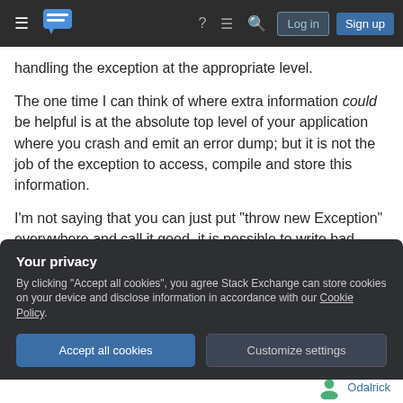Stack Exchange navigation bar with hamburger menu, logo, help, chat, search, Log in, Sign up
handling the exception at the appropriate level.
The one time I can think of where extra information could be helpful is at the absolute top level of your application where you crash and emit an error dump; but it is not the job of the exception to access, compile and store this information.
I'm not saying that you can just put "throw new Exception" everywhere and call it good, it is possible to write bad exceptions. But including irrelevant
Your privacy
By clicking "Accept all cookies", you agree Stack Exchange can store cookies on your device and disclose information in accordance with our Cookie Policy.
Accept all cookies
Customize settings
Odalrick